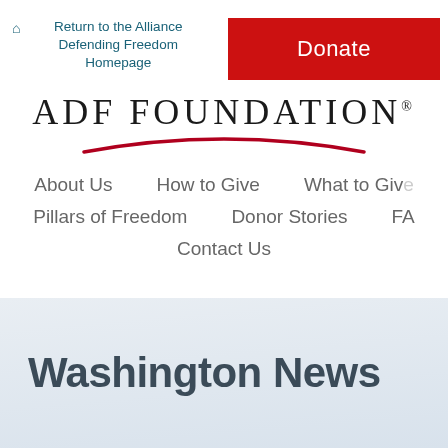Return to the Alliance Defending Freedom Homepage
Donate
[Figure (logo): ADF FOUNDATION logo with red swoosh arc underneath]
About Us
How to Give
What to Give
Pillars of Freedom
Donor Stories
FA
Contact Us
Washington News